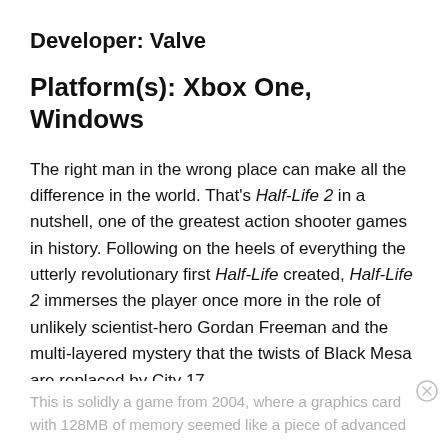Developer: Valve
Platform(s): Xbox One, Windows
The right man in the wrong place can make all the difference in the world. That's Half-Life 2 in a nutshell, one of the greatest action shooter games in history. Following on the heels of everything the utterly revolutionary first Half-Life created, Half-Life 2 immerses the player once more in the role of unlikely scientist-hero Gordan Freeman and the multi-layered mystery that the twists of Black Mesa are replaced by City 17.
This is solidly a game from 2004, where a graphics card with 128MB of memory seemed like a piece of advanced